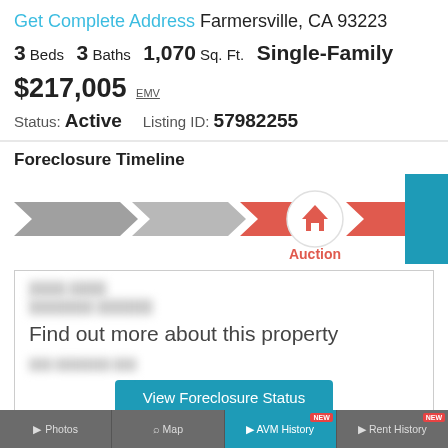Get Complete Address Farmersville, CA 93223
3 Beds   3 Baths   1,070 Sq. Ft.   Single-Family
$217,005 EMV
Status: Active   Listing ID: 57982255
Foreclosure Timeline
[Figure (infographic): Foreclosure timeline showing stages as arrow shapes: two gray arrows on the left, a red arrow in the center highlighted with a house icon circle indicating 'Auction' stage, another red arrow continuing right, and a teal box on the far right partially visible.]
Find out more about this property
View Foreclosure Status
Photos   Map   AVM History NEW   Rent History NEW